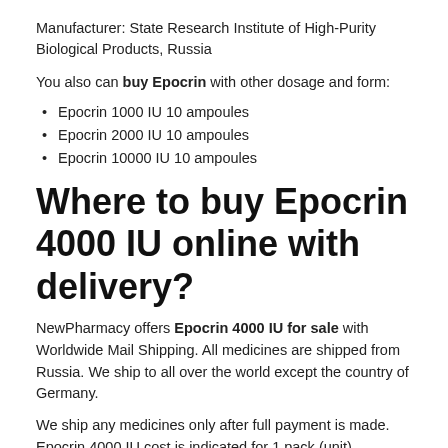Manufacturer: State Research Institute of High-Purity Biological Products, Russia
You also can buy Epocrin with other dosage and form:
Epocrin 1000 IU 10 ampoules
Epocrin 2000 IU 10 ampoules
Epocrin 10000 IU 10 ampoules
Where to buy Epocrin 4000 IU online with delivery?
NewPharmacy offers Epocrin 4000 IU for sale with Worldwide Mail Shipping. All medicines are shipped from Russia. We ship to all over the world except the country of Germany.
We ship any medicines only after full payment is made. Epocrin 4000 IU cost is indicated for 1 pack (unit).
Our online pharmacy sells only original, 100% authentic medicines (drugs).
Our pharmacy does not have accounts in such services as Amazon, Ebay, Reddit or others.